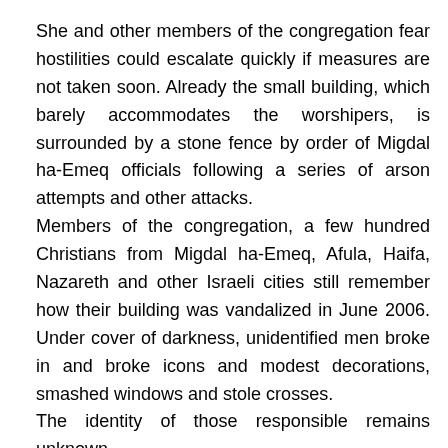She and other members of the congregation fear hostilities could escalate quickly if measures are not taken soon. Already the small building, which barely accommodates the worshipers, is surrounded by a stone fence by order of Migdal ha-Emeq officials following a series of arson attempts and other attacks.
Members of the congregation, a few hundred Christians from Migdal ha-Emeq, Afula, Haifa, Nazareth and other Israeli cities still remember how their building was vandalized in June 2006. Under cover of darkness, unidentified men broke in and broke icons and modest decorations, smashed windows and stole crosses.
The identity of those responsible remains unknown.
Established in 2005, the church building was constructed